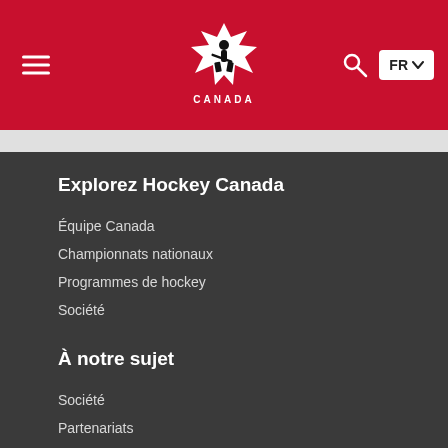[Figure (logo): Hockey Canada logo — red maple leaf with hockey player silhouette, CANADA text below]
Explorez Hockey Canada
Équipe Canada
Championnats nationaux
Programmes de hockey
Société
À notre sujet
Société
Partenariats
Carrières
Contact
Membres
Anciens